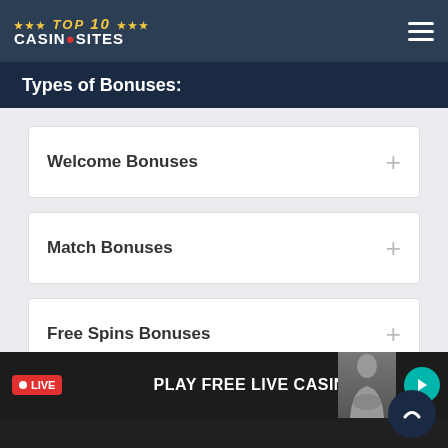TOP 10 CASINOSITES
Types of Bonuses:
Welcome Bonuses
Match Bonuses
Free Spins Bonuses
LIVE  PLAY FREE LIVE CASINO
This website uses cookies. By continuing, you agree to our use of cookies. Find out more here.
Agree